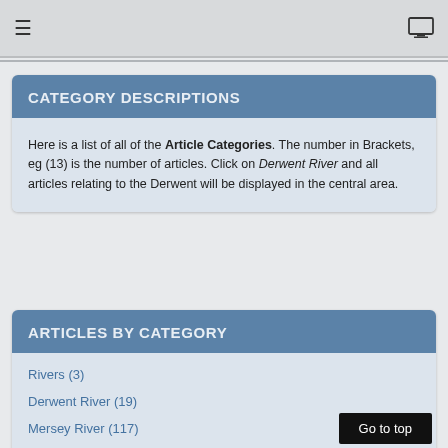≡  [monitor icon]
CATEGORY DESCRIPTIONS
Here is a list of all of the Article Categories. The number in Brackets, eg (13) is the number of articles. Click on Derwent River and all articles relating to the Derwent will be displayed in the central area.
ARTICLES BY CATEGORY
Rivers (3)
Derwent River (19)
Mersey River (117)
Meander River (85)